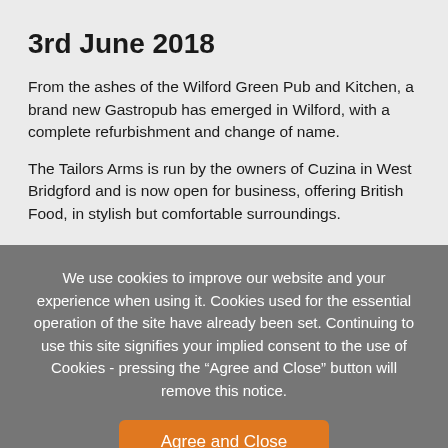3rd June 2018
From the ashes of the Wilford Green Pub and Kitchen, a brand new Gastropub has emerged in Wilford, with a complete refurbishment and change of name.
The Tailors Arms is run by the owners of Cuzina in West Bridgford and is now open for business, offering British Food, in stylish but comfortable surroundings.
We use cookies to improve our website and your experience when using it. Cookies used for the essential operation of the site have already been set. Continuing to use this site signifies your implied consent to the use of Cookies - pressing the “Agree and Close” button will remove this notice.
Agree and Close